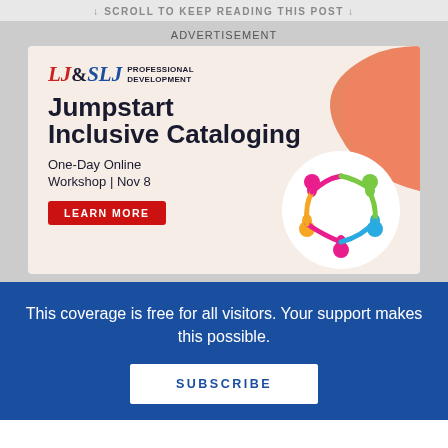↓ SCROLL TO KEEP READING THIS POST ↓
ADVERTISEMENT
[Figure (illustration): LJ&SLJ Professional Development advertisement for 'Jumpstart Inclusive Cataloging' one-day online workshop on Nov 8 with a Learn More button and a circular logo of people holding hands, with an orange blob decoration in the top right.]
This coverage is free for all visitors. Your support makes this possible.
SUBSCRIBE